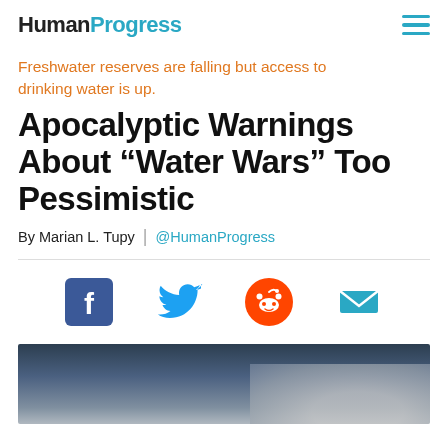HumanProgress
Freshwater reserves are falling but access to drinking water is up.
Apocalyptic Warnings About “Water Wars” Too Pessimistic
By Marian L. Tupy | @HumanProgress
[Figure (other): Social sharing icons: Facebook, Twitter, Reddit, Email]
[Figure (photo): Partial photo showing a dark background with blurred objects, partially cut off at bottom of page]